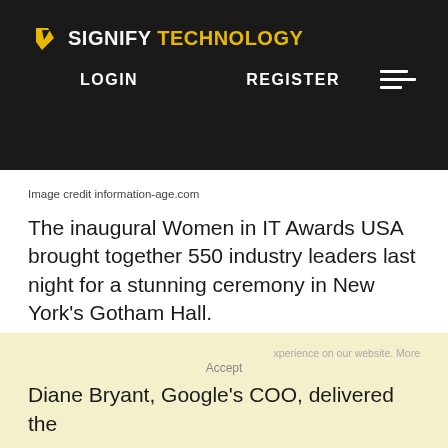SIGNIFY TECHNOLOGY — LOGIN REGISTER
Image credit information-age.com
The inaugural Women in IT Awards USA brought together 550 industry leaders last night for a stunning ceremony in New York's Gotham Hall.
The awards, organised by Information Age, serve to showcase the achievements and innovation of women in technology and identify new role models in a sector where female representation stands at alarmingly low figures.
Diane Bryant, Google's COO, delivered the